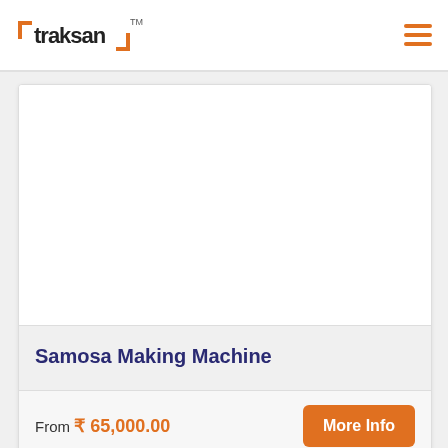Traksan TM [logo] — hamburger menu
[Figure (photo): Product image area for Samosa Making Machine (white/blank image area)]
Samosa Making Machine
From ₹ 65,000.00
More Info